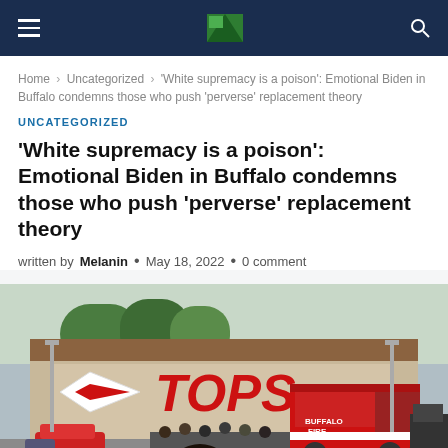Navigation bar with hamburger menu, logo, and search icon
Home > Uncategorized > 'White supremacy is a poison': Emotional Biden in Buffalo condemns those who push 'perverse' replacement theory
UNCATEGORIZED
'White supremacy is a poison': Emotional Biden in Buffalo condemns those who push 'perverse' replacement theory
written by Melanin • May 18, 2022 • 0 comment
[Figure (photo): Photo of Tops supermarket exterior with Buffalo Fire truck and crowd of people in front]